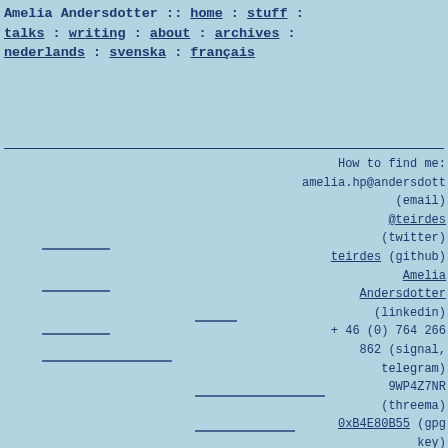Amelia Andersdotter :: home : stuff : talks : writing : about : archives : nederlands : svenska : français
How to find me:
amelia.hp@andersdott (email)
@teirdes (twitter)
teirdes (github)
Amelia Andersdotter (linkedin)
+ 46 (0) 764 266 862 (signal, telegram)
9WP4Z7NR (threema)
0xB4E80B55 (gpg key)